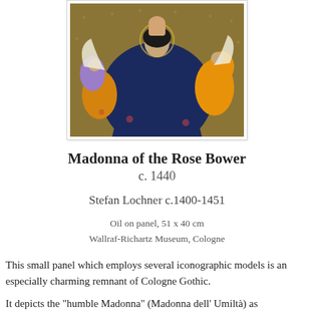[Figure (illustration): Painting of Madonna of the Rose Bower by Stefan Lochner, c. 1440. Shows Madonna seated with Christ child, surrounded by angels playing instruments, on a golden rose bower background.]
Madonna of the Rose Bower
c. 1440
Stefan Lochner c.1400-1451
Oil on panel, 51 x 40 cm
Wallraf-Richartz Museum, Cologne
This small panel which employs several iconographic models is an especially charming remnant of Cologne Gothic.
It depicts the "humble Madonna" (Madonna dell' Umiltà) as